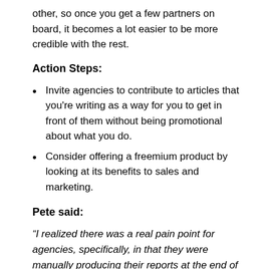other, so once you get a few partners on board, it becomes a lot easier to be more credible with the rest.
Action Steps:
Invite agencies to contribute to articles that you're writing as a way for you to get in front of them without being promotional about what you do.
Consider offering a freemium product by looking at its benefits to sales and marketing.
Pete said:
“I realized there was a real pain point for agencies, specifically, in that they were manually producing their reports at the end of the month for every client